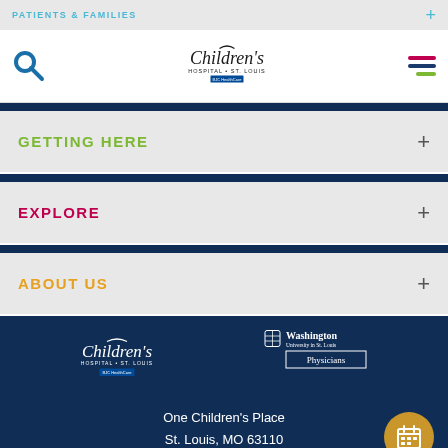PATIENTS & FAMILIES
[Figure (logo): Children's Hospital St. Louis BJC HealthCare logo with search icon and hamburger menu]
GETTING HERE
EXPLORE
ABOUT US
[Figure (logo): Children's Hospital St. Louis BJC HealthCare white logo]
[Figure (logo): Washington University in St. Louis Physicians white logo]
One Children's Place
St. Louis, MO 63110
314.454.6000